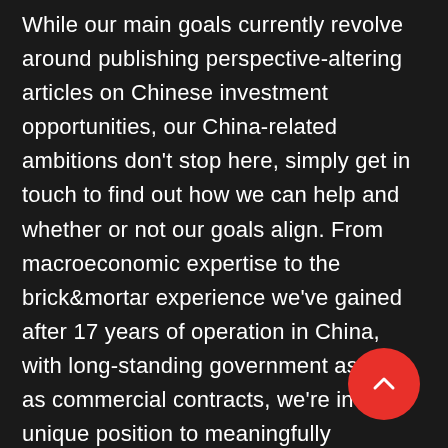While our main goals currently revolve around publishing perspective-altering articles on Chinese investment opportunities, our China-related ambitions don't stop here, simply get in touch to find out how we can help and whether or not our goals align. From macroeconomic expertise to the brick&mortar experience we've gained after 17 years of operation in China, with long-standing government as well as commercial contracts, we're in a unique position to meaningfully understand the Chinese market and help you do the same.
[Figure (other): Red circular scroll-to-top button with a white upward chevron arrow]